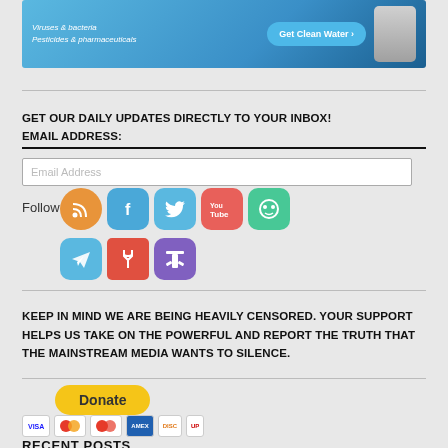[Figure (infographic): Water filter advertisement banner with blue water background, text 'Viruses & bacteria', 'Pesticides & pharmaceuticals', and 'Get Clean Water >' button with silver filter device on right]
GET OUR DAILY UPDATES DIRECTLY TO YOUR INBOX!
EMAIL ADDRESS:
Email Address
Follow
[Figure (infographic): Social media icons row 1: RSS (orange circle), Facebook (blue rounded square), Twitter (light blue rounded square), YouTube (red rounded square), Goodreads/frog (green rounded square)]
[Figure (infographic): Social media icons row 2: Telegram (light blue rounded square), Naturalnews fork icon (red square), Minds (purple rounded square)]
KEEP IN MIND WE ARE BEING HEAVILY CENSORED. YOUR SUPPORT HELPS US TAKE ON THE POWERFUL AND REPORT THE TRUTH THAT THE MAINSTREAM MEDIA WANTS TO SILENCE.
[Figure (infographic): Yellow PayPal Donate button]
[Figure (infographic): Payment icons: Visa, Mastercard, Mastercard, American Express, Discover, Union Pay]
RECENT POSTS